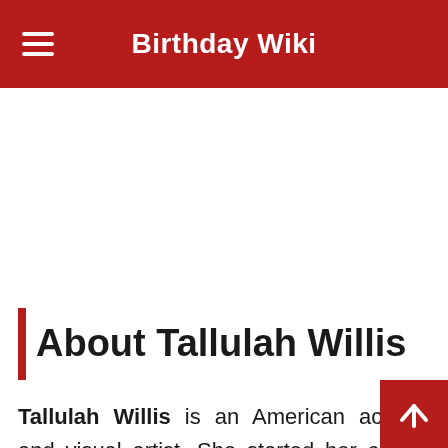Birthday Wiki
[Figure (other): Advertisement / blank area]
About Tallulah Willis
Tallulah Willis is an American actress and visual artist. She started her career as a child actor in her parents' movies. She is famous for being the daughter of actor Bruce Willis and actress Demi Moore. She has also acted in